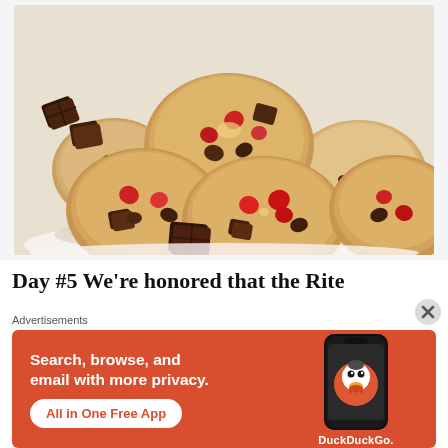[Figure (photo): A pile of chocolate chip and cherry/strawberry chunk cookies on a white surface, with pieces of dark chocolate visible in the background.]
Day #5 We're honored that the Rite
Advertisements
[Figure (infographic): DuckDuckGo advertisement banner on orange/red background. Text reads: 'Search, browse, and email with more privacy. All in One Free App'. Shows a smartphone with the DuckDuckGo duck logo and 'DuckDuckGo.' brand name.]